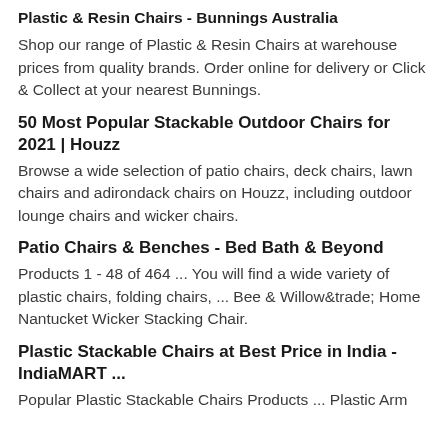Plastic & Resin Chairs - Bunnings Australia
Shop our range of Plastic & Resin Chairs at warehouse prices from quality brands. Order online for delivery or Click & Collect at your nearest Bunnings.
50 Most Popular Stackable Outdoor Chairs for 2021 | Houzz
Browse a wide selection of patio chairs, deck chairs, lawn chairs and adirondack chairs on Houzz, including outdoor lounge chairs and wicker chairs.
Patio Chairs & Benches - Bed Bath & Beyond
Products 1 - 48 of 464 ... You will find a wide variety of plastic chairs, folding chairs, ... Bee & Willow&trade; Home Nantucket Wicker Stacking Chair.
Plastic Stackable Chairs at Best Price in India - IndiaMART ...
Popular Plastic Stackable Chairs Products ... Plastic Arm